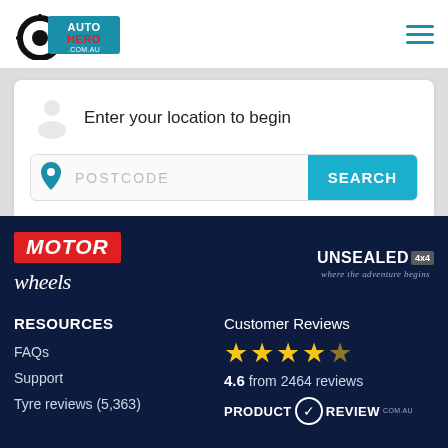[Figure (logo): Auto Hero .com.au logo with tyre graphic]
Enter your location to begin
POSTCODE
SEARCH
[Figure (logo): MOTOR magazine logo (red badge)]
[Figure (logo): Wheels magazine logo]
[Figure (logo): UNSEALED 4X4 - where the adventure begins logo]
RESOURCES
FAQs
Support
Tyre reviews (5,363)
Customer Reviews
4.6 from 2464 reviews
[Figure (logo): PRODUCT REVIEW .com.au logo]